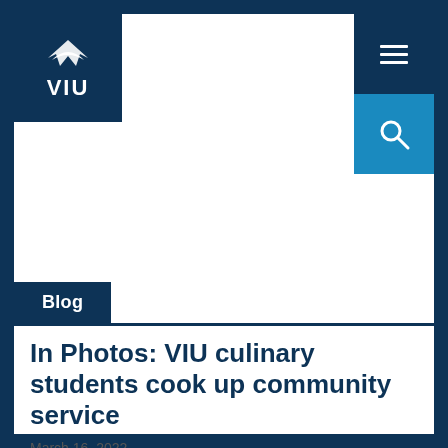[Figure (logo): VIU (Vancouver Island University) logo — white bird icon and text 'VIU' on dark navy background]
[Figure (other): Hamburger menu icon (three horizontal white lines) on dark navy background, top-right corner]
[Figure (other): Search magnifying glass icon in white on blue background, right side below menu]
Blog
In Photos: VIU culinary students cook up community service
March 16, 2022